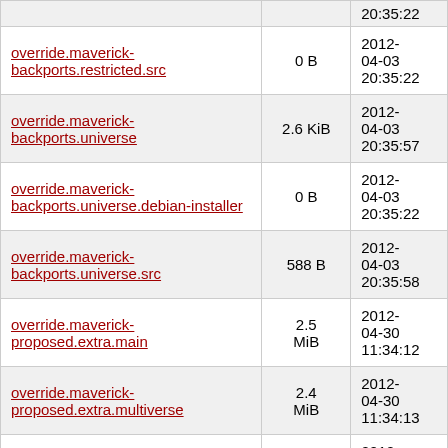| Name | Size | Date |
| --- | --- | --- |
| (partial top row) | 20:35:22 |  |
| override.maverick-backports.restricted.src | 0 B | 2012-04-03 20:35:22 |
| override.maverick-backports.universe | 2.6 KiB | 2012-04-03 20:35:57 |
| override.maverick-backports.universe.debian-installer | 0 B | 2012-04-03 20:35:22 |
| override.maverick-backports.universe.src | 588 B | 2012-04-03 20:35:58 |
| override.maverick-proposed.extra.main | 2.5 MiB | 2012-04-30 11:34:12 |
| override.maverick-proposed.extra.multiverse | 2.4 MiB | 2012-04-30 11:34:13 |
| override.maverick-proposed.extra.restricted | 0 B | 2012-04-30 11:34:09 |
| override.maverick-...(partial) | 2.4 | 2012- |